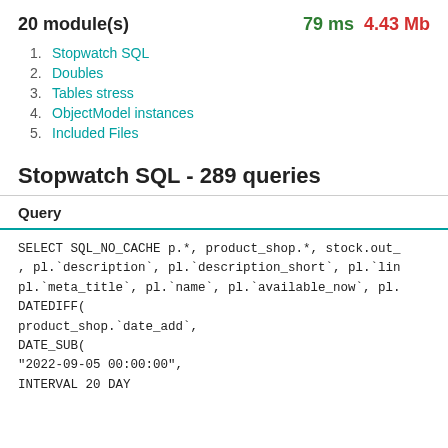20 module(s)   79 ms   4.43 Mb
1. Stopwatch SQL
2. Doubles
3. Tables stress
4. ObjectModel instances
5. Included Files
Stopwatch SQL - 289 queries
Query
SELECT SQL_NO_CACHE p.*, product_shop.*, stock.out_
, pl.`description`, pl.`description_short`, pl.`lin
pl.`meta_title`, pl.`name`, pl.`available_now`, pl.
DATEDIFF(
product_shop.`date_add`,
DATE_SUB(
"2022-09-05 00:00:00",
INTERVAL 20 DAY